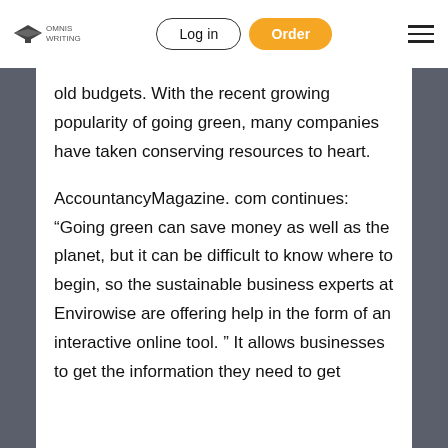Log in | Order
old budgets. With the recent growing popularity of going green, many companies have taken conserving resources to heart.
AccountancyMagazine. com continues: “Going green can save money as well as the planet, but it can be difficult to know where to begin, so the sustainable business experts at Envirowise are offering help in the form of an interactive online tool. ” It allows businesses to get the information they need to get